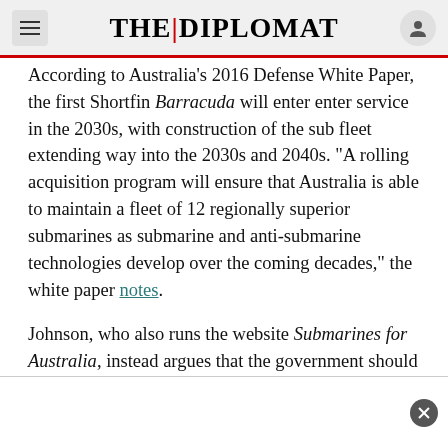THE DIPLOMAT
According to Australia's 2016 Defense White Paper, the first Shortfin Barracuda will enter enter service in the 2030s, with construction of the sub fleet extending way into the 2030s and 2040s. “A rolling acquisition program will ensure that Australia is able to maintain a fleet of 12 regionally superior submarines as submarine and anti-submarine technologies develop over the coming decades,” the white paper notes.
Johnson, who also runs the website Submarines for Australia, instead argues that the government should move quickly to procure to six off-the-shelf submarines, either German Type 212 or French